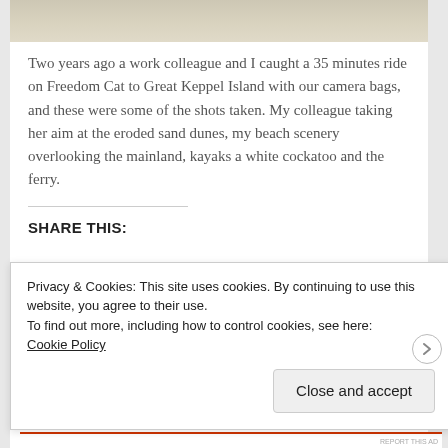[Figure (photo): Cropped top of a photo showing a light sandy/beige surface, likely sand dunes or beach.]
Two years ago a work colleague and I caught a 35 minutes ride on Freedom Cat to Great Keppel Island with our camera bags, and these were some of the shots taken. My colleague taking her aim at the eroded sand dunes, my beach scenery overlooking the mainland, kayaks a white cockatoo and the ferry.
SHARE THIS:
Privacy & Cookies: This site uses cookies. By continuing to use this website, you agree to their use.
To find out more, including how to control cookies, see here:
Cookie Policy
Close and accept